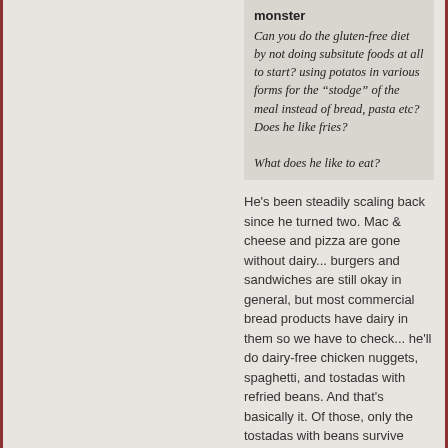monster
Can you do the gluten-free diet by not doing subsitute foods at all to start? using potatos in various forms for the "stodge" of the meal instead of bread, pasta etc? Does he like fries?

What does he like to eat?
He's been steadily scaling back since he turned two. Mac & cheese and pizza are gone without dairy... burgers and sandwiches are still okay in general, but most commercial bread products have dairy in them so we have to check... he'll do dairy-free chicken nuggets, spaghetti, and tostadas with refried beans. And that's basically it. Of those, only the tostadas with beans survive going gluten-free. (He already rejected the GF chicken nuggets and GF pasta, multiple times.)